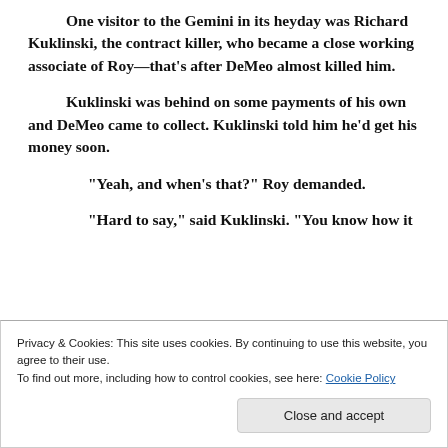One visitor to the Gemini in its heyday was Richard Kuklinski, the contract killer, who became a close working associate of Roy—that's after DeMeo almost killed him.
Kuklinski was behind on some payments of his own and DeMeo came to collect. Kuklinski told him he'd get his money soon.
“Yeah, and when’s that?” Roy demanded.
“Hard to say,” said Kuklinski. “You know how it
Privacy & Cookies: This site uses cookies. By continuing to use this website, you agree to their use.
To find out more, including how to control cookies, see here: Cookie Policy